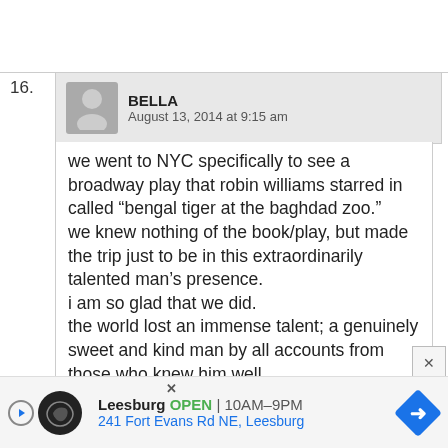16.
BELLA — August 13, 2014 at 9:15 am
we went to NYC specifically to see a broadway play that robin williams starred in called “bengal tiger at the baghdad zoo.”
we knew nothing of the book/play, but made the trip just to be in this extraordinarily talented man’s presence.
i am so glad that we did.
the world lost an immense talent; a genuinely sweet and kind man by all accounts from those who knew him well.
i personally can’t wrap my head around it – how someone who brought such joy and laughter into my life through his work could have been in such despair
[Figure (infographic): Advertisement banner for a local business in Leesburg. Shows a circular logo, play button, business name 'Leesburg', 'OPEN', hours '10AM-9PM', address '241 Fort Evans Rd NE, Leesburg', and a blue diamond arrow icon. Has a close X button.]